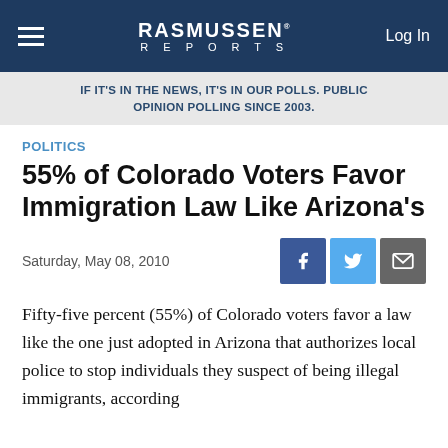RASMUSSEN REPORTS   Log In
IF IT'S IN THE NEWS, IT'S IN OUR POLLS. PUBLIC OPINION POLLING SINCE 2003.
POLITICS
55% of Colorado Voters Favor Immigration Law Like Arizona's
Saturday, May 08, 2010
Fifty-five percent (55%) of Colorado voters favor a law like the one just adopted in Arizona that authorizes local police to stop individuals they suspect of being illegal immigrants, according